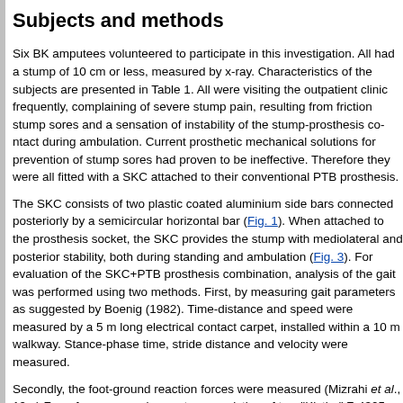Subjects and methods
Six BK amputees volunteered to participate in this investigation. All had a stump of 10 cm or less, measured by x-ray. Characteristics of the subjects are presented in Table 1. All were visiting the outpatient clinic frequently, complaining of severe stump pain, resulting from friction stump sores and a sensation of instability of the stump-prosthesis contact during ambulation. Current prosthetic mechanical solutions for prevention of stump sores had proven to be ineffective. Therefore they were all fitted with a SKC attached to their conventional PTB prosthesis.
The SKC consists of two plastic coated aluminium side bars connected posteriorly by a semicircular horizontal bar (Fig. 1). When attached to the prosthesis socket, the SKC provides the stump with mediolateral and posterior stability, both during standing and ambulation (Fig. 2 and Fig. 3). For evaluation of the SKC+PTB prosthesis combination, analysis of the gait was performed using two methods. First, by measuring gait parameters as suggested by Boenig (1982). Time-distance and speed were measured by a 5 m long electrical contact carpet, installed within a 10 m walkway. Stance-phase time, stride distance and velocity were measured.
Secondly, the foot-ground reaction forces were measured (Mizrahi et al., 19...). For this purpose a force measuring system consisting of two "Kistler" Z-4305 platforms were used to measure ground reaction forces (Fig. 4) in the vertical (Fz), anteroposterior (Fy) and mediolateral (Fx) directions were simultaneously monitored for both limbs. Signals from the electrical contact system walkway and from the "Kistler" force plates were routed to an on-line computer and analysed. The subjects were tested in a random order, while ambulating with the conventional prosthesis only, and with SKC+PTB prosthesis combination. Each test was repeated 5 times. The subjects rested for at least 15 minutes between each trial. The results presented are the average obtained for all subjects.